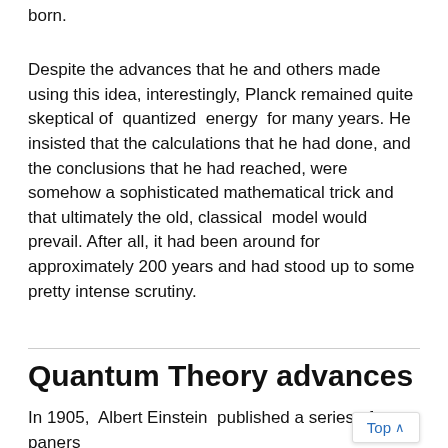born.
Despite the advances that he and others made using this idea, interestingly, Planck remained quite skeptical of quantized energy for many years. He insisted that the calculations that he had done, and the conclusions that he had reached, were somehow a sophisticated mathematical trick and that ultimately the old, classical model would prevail. After all, it had been around for approximately 200 years and had stood up to some pretty intense scrutiny.
Quantum Theory advances
In 1905, Albert Einstein published a series of papers proposing that light also exhibited quantum b (Einstein, 1905). Sometimes described as Einstein's Annus mirabilis (miracle year), the year turned out to be the year